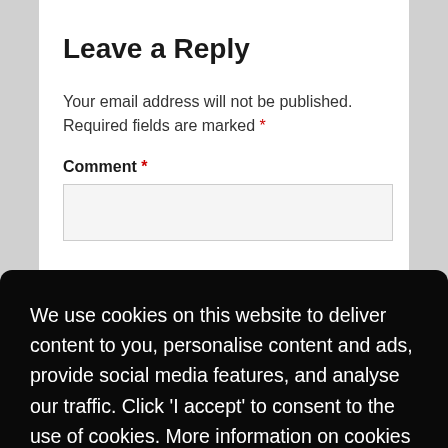Leave a Reply
Your email address will not be published. Required fields are marked *
Comment *
We use cookies on this website to deliver content to you, personalise content and ads, provide social media features, and analyse our traffic. Click 'I accept' to consent to the use of cookies. More information on cookies and how to manage them  click here
I Accept